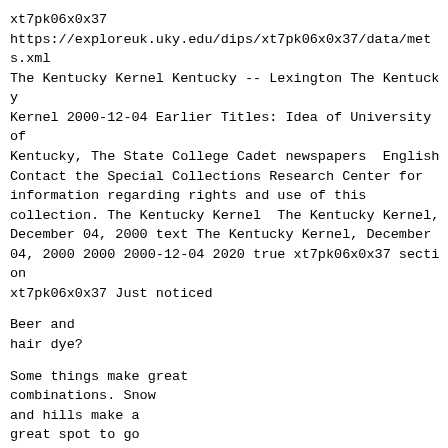xt7pk06x0x37
https://exploreuk.uky.edu/dips/xt7pk06x0x37/data/mets.xml
The Kentucky Kernel Kentucky -- Lexington The Kentucky Kernel 2000-12-04 Earlier Titles: Idea of University of Kentucky, The State College Cadet newspapers  English Contact the Special Collections Research Center for information regarding rights and use of this collection. The Kentucky Kernel  The Kentucky Kernel, December 04, 2000 text The Kentucky Kernel, December 04, 2000 2000 2000-12-04 2020 true xt7pk06x0x37 section xt7pk06x0x37 Just noticed
Beer and
hair dye?
Some things make great
combinations. Snow
and hills make a
great spot to go
sledding. Pitchers
and thirsty people, is
yet another example.
Pizza and corn. no
wait, that's just what
the high school lunch
ladies thought made
a good combination.
Here are some other
good and not so good
combinations.